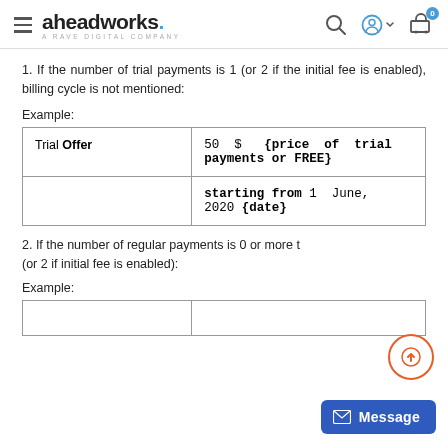aheadworks. A RAVE DIGITAL COMPANY
1. If the number of trial payments is 1 (or 2 if the initial fee is enabled), billing cycle is not mentioned:
Example:
| Trial Offer | 50 $ {price of trial payments or FREE} |
|  | starting from 1 June, 2020 {date} |
2. If the number of regular payments is 0 or more than 1 (or 2 if initial fee is enabled):
Example: